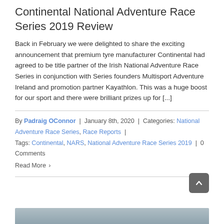Continental National Adventure Race Series 2019 Review
Back in February we were delighted to share the exciting announcement that premium tyre manufacturer Continental had agreed to be title partner of the Irish National Adventure Race Series in conjunction with Series founders Multisport Adventure Ireland and promotion partner Kayathlon. This was a huge boost for our sport and there were brilliant prizes up for [...]
By Padraig OConnor | January 8th, 2020 | Categories: National Adventure Race Series, Race Reports | Tags: Continental, NARS, National Adventure Race Series 2019 | 0 Comments
Read More >